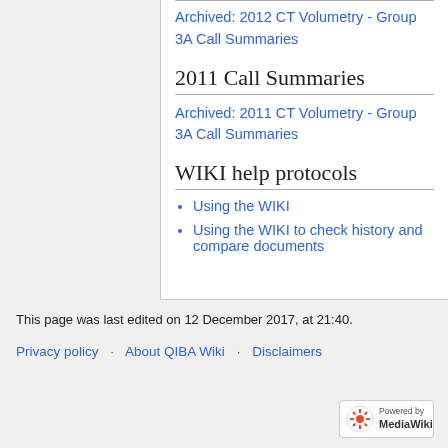Archived: 2012 CT Volumetry - Group 3A Call Summaries
2011 Call Summaries
Archived: 2011 CT Volumetry - Group 3A Call Summaries
WIKI help protocols
Using the WIKI
Using the WIKI to check history and compare documents
This page was last edited on 12 December 2017, at 21:40.
Privacy policy   About QIBA Wiki   Disclaimers